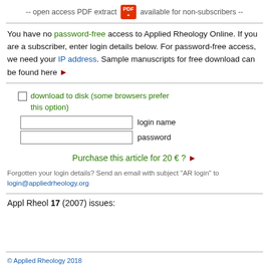-- open access PDF extract [PDF icon] available for non-subscribers --
You have no password-free access to Applied Rheology Online. If you are a subscriber, enter login details below. For password-free access, we need your IP address. Sample manuscripts for free download can be found here ▶
☐ download to disk (some browsers prefer this option)
[login name input]
[password input]
Purchase this article for 20 € ? ▶
Forgotten your login details? Send an email with subject "AR login" to login@appliedrheology.org
Appl Rheol 17 (2007) issues:
© Applied Rheology 2018